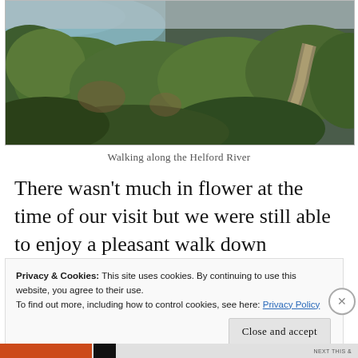[Figure (photo): A narrow dirt path winding through dense green shrubs and vegetation along a coastal hillside, with a body of water (the Helford River) visible in the upper left background under an overcast sky.]
Walking along the Helford River
There wasn’t much in flower at the time of our visit but we were still able to enjoy a pleasant walk down
Privacy & Cookies: This site uses cookies. By continuing to use this website, you agree to their use.
To find out more, including how to control cookies, see here: Privacy Policy
Close and accept